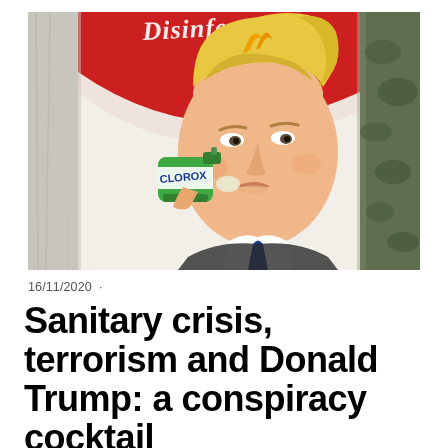[Figure (illustration): Pop-art style illustration of Donald Trump drinking from a green spray can (labeled Clorox), with yellow hair and a small flame on top, against a red and white Coca-Cola-like background poster. The image is photographed on a rough wall surface.]
16/11/2020  ·
Sanitary crisis, terrorism and Donald Trump: a conspiracy cocktail